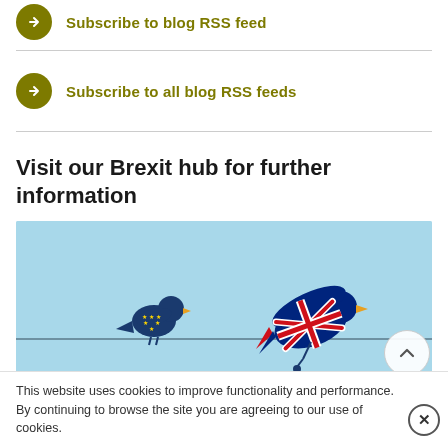Subscribe to blog RSS feed
Subscribe to all blog RSS feeds
Visit our Brexit hub for further information
[Figure (illustration): Two birds on a wire: one blue bird with EU stars, one flying bird in Union Jack flag pattern, on a light blue background]
This website uses cookies to improve functionality and performance. By continuing to browse the site you are agreeing to our use of cookies.